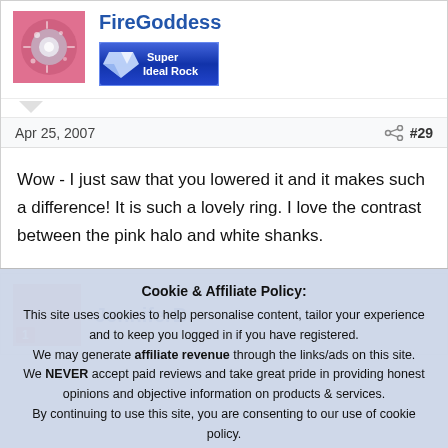FireGoddess
[Figure (logo): Super Ideal Rock badge button with diamond logo, blue gradient background]
Apr 25, 2007   #29
Wow - I just saw that you lowered it and it makes such a difference! It is such a lovely ring. I love the contrast between the pink halo and white shanks.
JenniferB
Cookie & Affiliate Policy: This site uses cookies to help personalise content, tailor your experience and to keep you logged in if you have registered. We may generate affiliate revenue through the links/ads on this site. We NEVER accept paid reviews and take great pride in providing honest opinions and objective information on products & services. By continuing to use this site, you are consenting to our use of cookie policy.